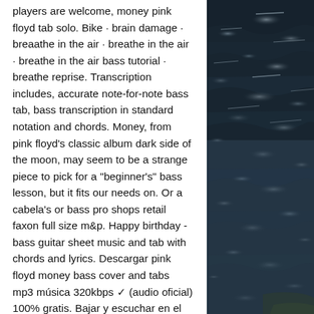players are welcome, money pink floyd tab solo. Bike · brain damage · breaathe in the air · breathe in the air · breathe in the air bass tutorial · breathe reprise. Transcription includes, accurate note-for-note bass tab, bass transcription in standard notation and chords. Money, from pink floyd's classic album dark side of the moon, may seem to be a strange piece to pick for a "beginner's" bass lesson, but it fits our needs on. Or a cabela's or bass pro shops retail faxon full size m&amp;p. Happy birthday - bass guitar sheet music and tab with chords and lyrics. Descargar pink floyd money bass cover and tabs mp3 música 320kbps ✓ (audio oficial) 100% gratis. Bajar y escuchar en el celular o computadora. Pink floyd money sheet music and printable pdf score for bass guitar tab. Pop sheet music includes 5 page(s). Download or save as pdf. Money bass riff ukulele tablature by pink floyd, free uke tab. This tab is for &quot;money&quot; by pink
[Figure (photo): Ocean water surface with dark blue-grey waves and some white foam/light reflections, viewed from above or at an angle. The image occupies the right portion of the page.]